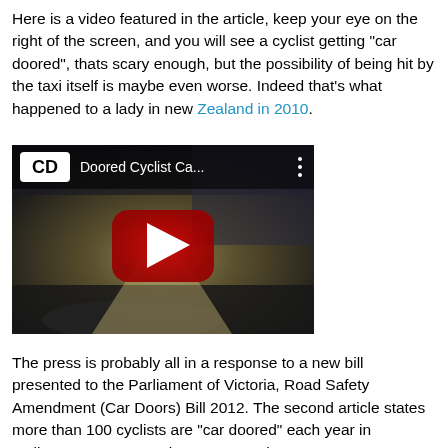Here is a video featured in the article, keep your eye on the right of the screen, and you will see a cyclist getting "car doored", thats scary enough, but the possibility of being hit by the taxi itself is maybe even worse. Indeed that's what happened to a lady in new Zealand in 2010.
[Figure (screenshot): YouTube video thumbnail showing 'Doored Cyclist Ca...' with a dashcam view of a road at night, featuring a red YouTube play button in the center and a CD logo in the top-left corner.]
The press is probably all in a response to a new bill presented to the Parliament of Victoria, Road Safety Amendment (Car Doors) Bill 2012. The second article states more than 100 cyclists are "car doored" each year in Melbourne, so I guess its a pretty serious